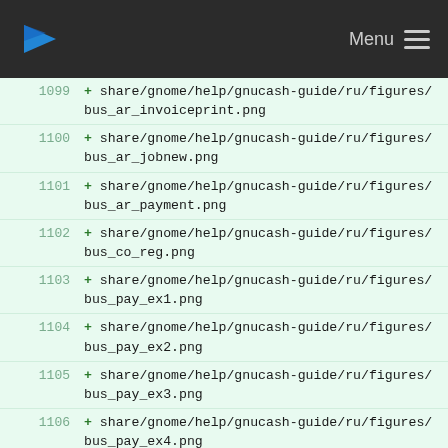Menu
1099  + share/gnome/help/gnucash-guide/ru/figures/bus_ar_invoiceprint.png
1100  + share/gnome/help/gnucash-guide/ru/figures/bus_ar_jobnew.png
1101  + share/gnome/help/gnucash-guide/ru/figures/bus_ar_payment.png
1102  + share/gnome/help/gnucash-guide/ru/figures/bus_co_reg.png
1103  + share/gnome/help/gnucash-guide/ru/figures/bus_pay_ex1.png
1104  + share/gnome/help/gnucash-guide/ru/figures/bus_pay_ex2.png
1105  + share/gnome/help/gnucash-guide/ru/figures/bus_pay_ex3.png
1106  + share/gnome/help/gnucash-guide/ru/figures/bus_pay_ex4.png
1107  + share/gnome/help/gnucash-guide/ru/figures/bus_tax_main.png
1108  + share/gnome/help/gnucash-